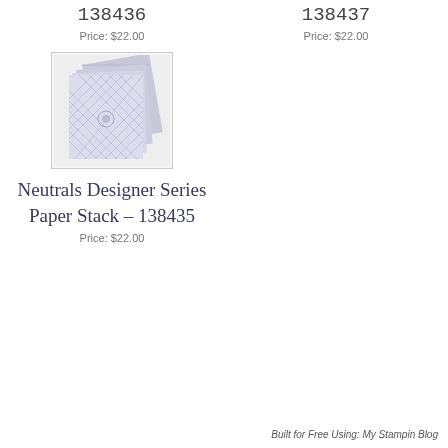138436
Price: $22.00
138437
Price: $22.00
[Figure (photo): Neutrals Designer Series Paper Stack product image showing fanned-out sheets of silver/grey patterned paper]
Neutrals Designer Series Paper Stack – 138435
Price: $22.00
Built for Free Using: My Stampin Blog